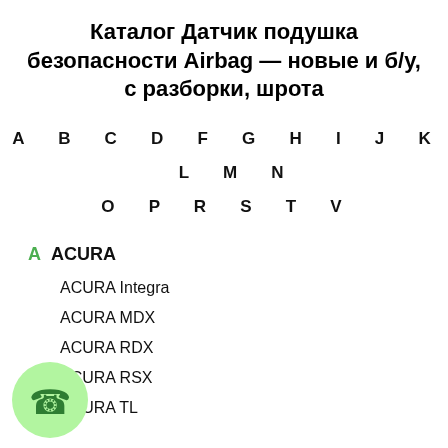Каталог Датчик подушка безопасности Airbag — новые и б/у, с разборки, шрота
A B C D F G H I J K L M N
O P R S T V
A ACURA
ACURA Integra
ACURA MDX
ACURA RDX
ACURA RSX
ACURA TL
[Figure (illustration): Green phone call bubble icon in bottom left corner]